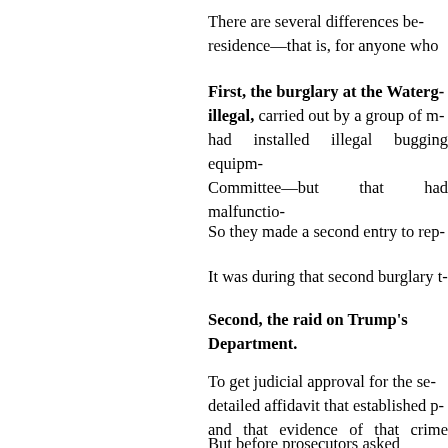There are several differences be- residence—that is, for anyone who
First, the burglary at the Waterg- illegal, carried out by a group of m- had installed illegal bugging equipm- Committee—but that had malfunctio-
So they made a second entry to rep-
It was during that second burglary t-
Second, the raid on Trump's Department.
To get judicial approval for the se- detailed affidavit that established p- and that evidence of that crime exis-
But before prosecutors asked investigators had to obtain the a- Department. Too much historical an-